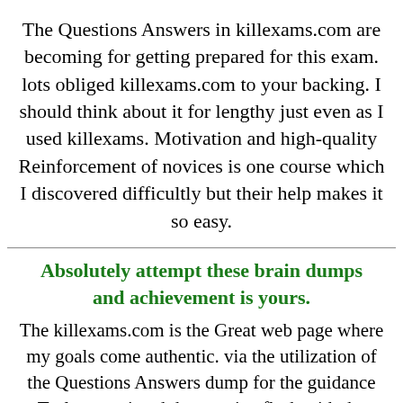The Questions Answers in killexams.com are becoming for getting prepared for this exam. lots obliged killexams.com to your backing. I should think about it for lengthy just even as I used killexams. Motivation and high-quality Reinforcement of novices is one course which I discovered difficultly but their help makes it so easy.
Absolutely attempt these brain dumps and achievement is yours.
The killexams.com is the Great web page where my goals come authentic. via the utilization of the Questions Answers dump for the guidance Truly acquainted the genuine flash with the investigations and